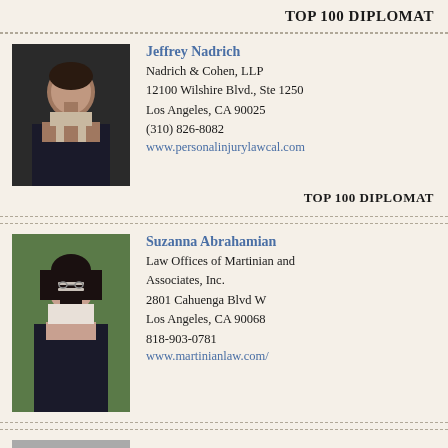TOP 100 DIPLOMAT
[Figure (photo): Headshot photo of Jeffrey Nadrich, a man in a dark suit]
Jeffrey Nadrich
Nadrich & Cohen, LLP
12100 Wilshire Blvd., Ste 1250
Los Angeles, CA 90025
(310) 826-8082
www.personalinjurylawcal.com
TOP 100 DIPLOMAT
[Figure (photo): Headshot photo of Suzanna Abrahamian, a woman with glasses in a dark jacket]
Suzanna Abrahamian
Law Offices of Martinian and Associates, Inc.
2801 Cahuenga Blvd W
Los Angeles, CA 90068
818-903-0781
www.martinianlaw.com/
[Figure (photo): Partial headshot photo of Alan Ahdoot]
Alan Ahdoot